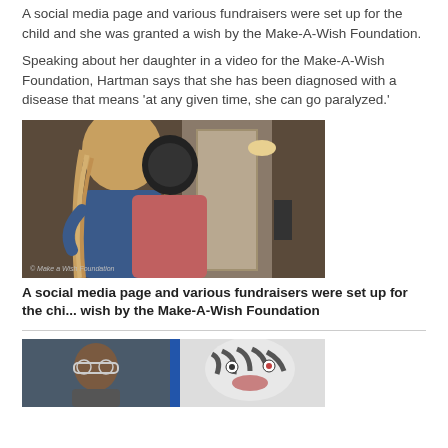A social media page and various fundraisers were set up for the child and she was granted a wish by the Make-A-Wish Foundation.
Speaking about her daughter in a video for the Make-A-Wish Foundation, Hartman says that she has been diagnosed with a disease that means 'at any given time, she can go paralyzed.'
[Figure (photo): Photo of a woman with long blonde hair embracing a child wearing a helmet/mask, inside a home hallway. Watermark: © Make a Wish Foundation]
A social media page and various fundraisers were set up for the chi... wish by the Make-A-Wish Foundation
[Figure (photo): Two-panel photo: left shows a person with glasses, right shows a child wearing a striped zebra-like mask/headgear]